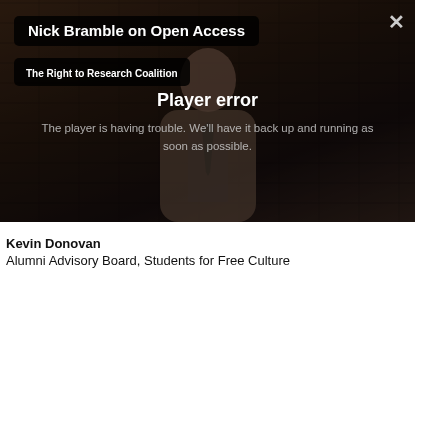[Figure (screenshot): Video player showing Nick Bramble on Open Access with a player error message overlay. Title bar reads 'Nick Bramble on Open Access', subtitle bar reads 'The Right to Research Coalition'. Error message: 'Player error — The player is having trouble. We'll have it back up and running as soon as possible.']
Kevin Donovan
Alumni Advisory Board, Students for Free Culture
[Figure (screenshot): Video player showing Kevin Donovan on Open Access. Title bar reads 'Kevin Donovan on Open Access', subtitle bar reads 'The Right to Research Coalition'.]